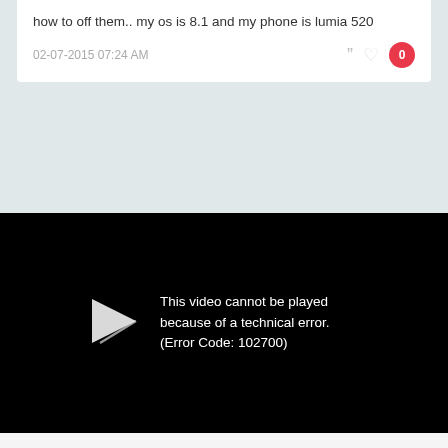how to off them.. my os is 8.1 and my phone is lumia 520
02-07-2015 07:24 AM
[Figure (screenshot): Video player showing error: This video cannot be played because of a technical error. (Error Code: 102700)]